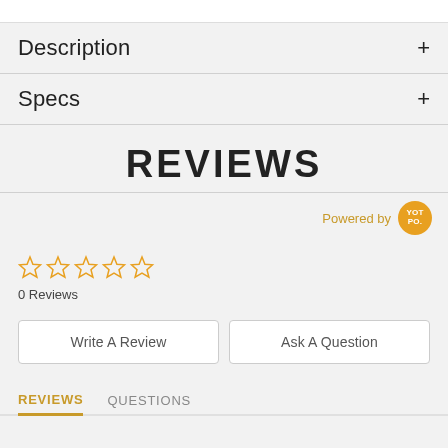Description +
Specs +
REVIEWS
Powered by [Yotpo]
[Figure (other): Five empty star rating icons in orange/gold outline]
0 Reviews
Write A Review
Ask A Question
REVIEWS   QUESTIONS